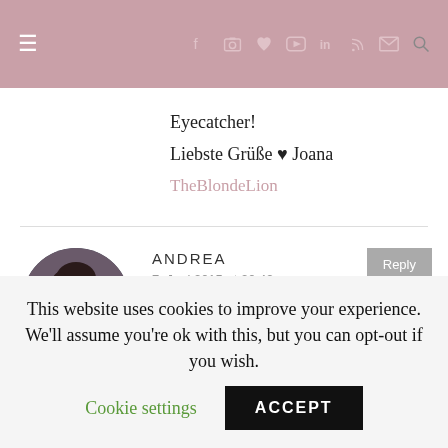Navigation bar with hamburger menu and social icons
Eyecatcher!
Liebste Grüße ♥ Joana
TheBlondeLion
ANDREA
7. Juni 2015 at 20:42
Sieht richtig schön aus!
This website uses cookies to improve your experience. We'll assume you're ok with this, but you can opt-out if you wish.
Cookie settings
ACCEPT